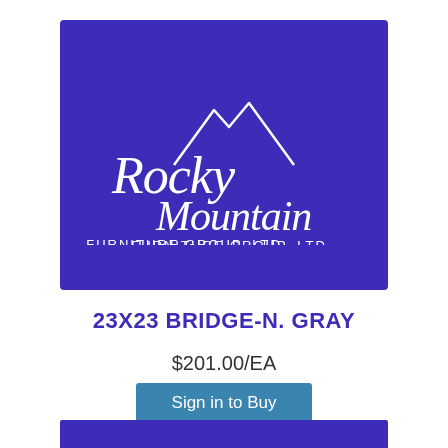[Figure (logo): Rocky Mountain Furniture Group, LTD logo — white script text and mountain graphic on purple background]
23X23 BRIDGE-N. GRAY
$201.00/EA
Sign in to Buy